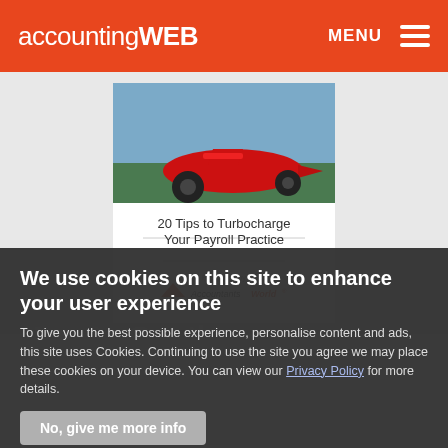accountingWEB  MENU
[Figure (photo): Book cover titled '20 Tips to Turbocharge Your Payroll Practice' with a red Formula 1 racing car image on the top half and AccountantsWorld logo at the bottom]
We use cookies on this site to enhance your user experience
To give you the best possible experience, personalise content and ads, this site uses Cookies. Continuing to use the site you agree we may place these cookies on your device. You can view our Privacy Policy for more details.
No, give me more info
OK, I agree